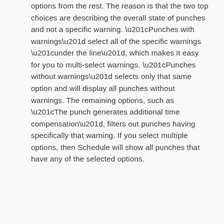options from the rest. The reason is that the two top choices are describing the overall state of punches and not a specific warning. “Punches with warnings” select all of the specific warnings “under the line”, which makes it easy for you to multi-select warnings. “Punches without warnings” selects only that same option and will display all punches without warnings. The remaining options, such as “The punch generates additional time compensation”, filters out punches having specifically that warning. If you select multiple options, then Schedule will show all punches that have any of the selected options.